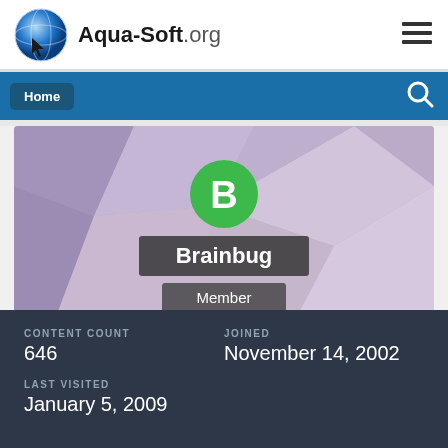Aqua-Soft.org
[Figure (screenshot): Aqua-Soft.org website header with logo (blue globe/cursor icon) and hamburger menu]
Home
[Figure (illustration): User profile banner with geometric purple polygon background, green circle avatar with letter B, username Brainbug, role Member]
CONTENT COUNT
646
JOINED
November 14, 2002
LAST VISITED
January 5, 2009